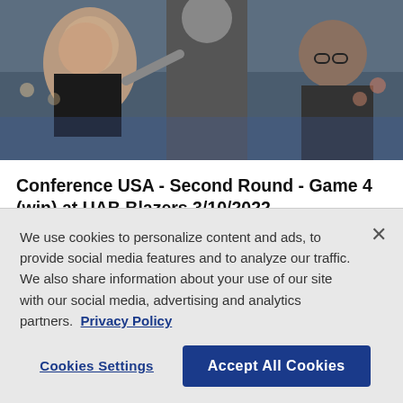[Figure (photo): Basketball coaching staff on the sideline, with a person pointing and coaches seated, crowd visible in background]
Conference USA - Second Round - Game 4 (win) at UAB Blazers 3/10/2022
Mar. 09, 2022 08:14 PM EST
[Figure (photo): Partial view of a second sports/basketball photo, partially obscured by cookie banner]
We use cookies to personalize content and ads, to provide social media features and to analyze our traffic. We also share information about your use of our site with our social media, advertising and analytics partners.  Privacy Policy
Cookies Settings
Accept All Cookies